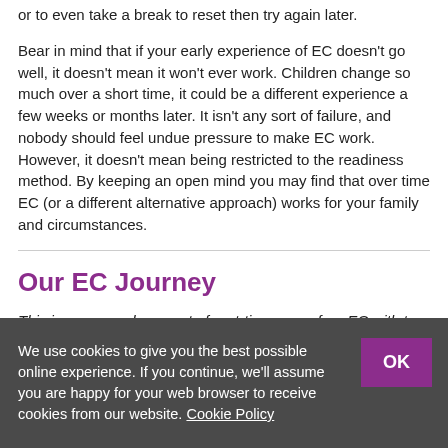or to even take a break to reset then try again later.
Bear in mind that if your early experience of EC doesn't go well, it doesn't mean it won't ever work. Children change so much over a short time, it could be a different experience a few weeks or months later. It isn't any sort of failure, and nobody should feel undue pressure to make EC work. However, it doesn't mean being restricted to the readiness method. By keeping an open mind you may find that over time EC (or a different alternative approach) works for your family and circumstances.
Our EC Journey
This is a personal account of part-time mess-free EC with two boys from starting out to potty training, including the practicalities and the nitty-gritty of toileting (apologies to anyone squeamish about poop!).
We use cookies to give you the best possible online experience. If you continue, we'll assume you are happy for your web browser to receive cookies from our website. Cookie Policy